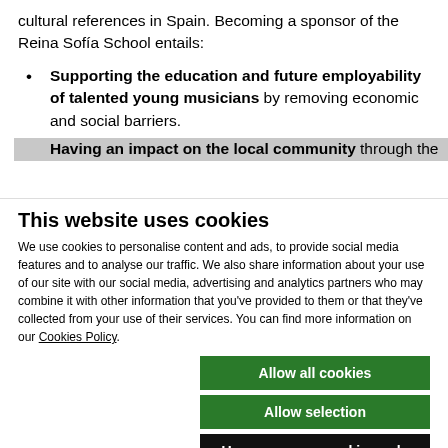cultural references in Spain. Becoming a sponsor of the Reina Sofía School entails:
Supporting the education and future employability of talented young musicians by removing economic and social barriers.
Having an impact on the local community through the
This website uses cookies
We use cookies to personalise content and ads, to provide social media features and to analyse our traffic. We also share information about your use of our site with our social media, advertising and analytics partners who may combine it with other information that you've provided to them or that they've collected from your use of their services. You can find more information on our Cookies Policy.
Allow all cookies
Allow selection
Use necessary cookies only
Necessary  Preferences  Statistics  Marketing  Show details